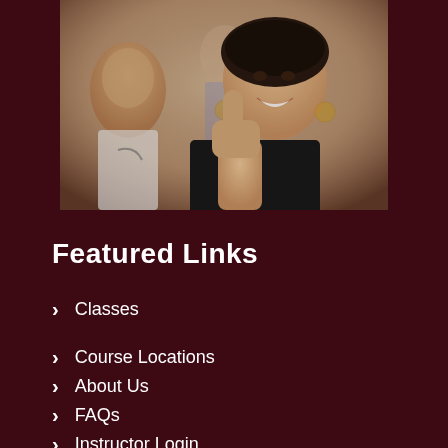[Figure (photo): A smiling young woman giving a thumbs up in the foreground, with a doctor in a white coat and another person blurred in the background.]
Featured Links
Classes
Course Locations
About Us
FAQs
Instructor Login